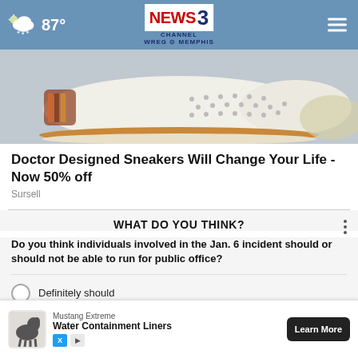NEWS CHANNEL 3 WREG MEMPHIS — 87°
[Figure (photo): Close-up photo of a white leather slip-on sneaker with perforations and brown sole trim on a light gray background]
Doctor Designed Sneakers Will Change Your Life - Now 50% off
Sursell
WHAT DO YOU THINK?
Do you think individuals involved in the Jan. 6 incident should or should not be able to run for public office?
Definitely should
Probably should
Probably should not
[Figure (screenshot): Advertisement banner for Mustang Extreme Water Containment Liners with Learn More button]